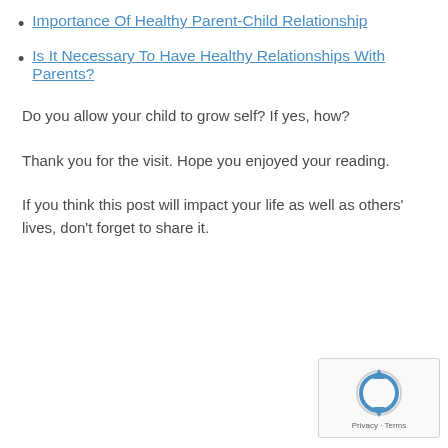Importance Of Healthy Parent-Child Relationship
Is It Necessary To Have Healthy Relationships With Parents?
Do you allow your child to grow self? If yes, how?
Thank you for the visit. Hope you enjoyed your reading.
If you think this post will impact your life as well as others' lives, don't forget to share it.